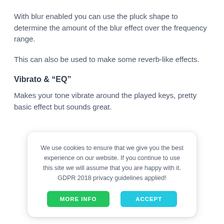With blur enabled you can use the pluck shape to determine the amount of the blur effect over the frequency range.
This can also be used to make some reverb-like effects.
Vibrato & “EQ”
Makes your tone vibrate around the played keys, pretty basic effect but sounds great.
We use cookies to ensure that we give you the best experience on our website. If you continue to use this site we will assume that you are happy with it. GDPR 2018 privacy guidelines applied!